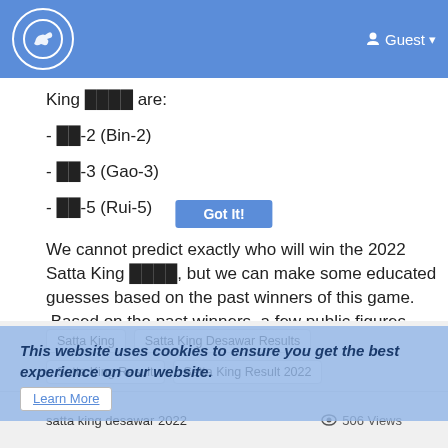Guest
King ईनाम are:
- बि-2 (Bin-2)
- गा-3 (Gao-3)
- रु-5 (Rui-5)
We cannot predict exactly who will win the 2022 Satta King ईनाम, but we can make some educated guesses based on the past winners of this game. .Based on the past winners, a few public figures that we could speculate about as potential winners of the 2022 Satta King ईनाम.
This website uses cookies to ensure you get the best experience on our website.
Learn More
Got It!
Satta King
Satta King Desawar Results
Satta King Result
Satta King Result 2022
satta king desawar 2022   506 Views